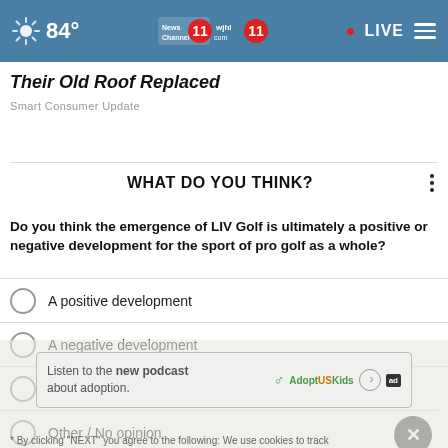84° | News Channel 11 | wjhl 11 | LIVE
Their Old Roof Replaced
Smart Consumer Update
WHAT DO YOU THINK?
Do you think the emergence of LIV Golf is ultimately a positive or negative development for the sport of pro golf as a whole?
A positive development
A negative development
Neither
Other / No opinion
[Figure (other): Advertisement banner: Listen to the new podcast about adoption. AdoptUSKids logo.]
* By clicking "NEXT" you agree to the following: We use cookies to track